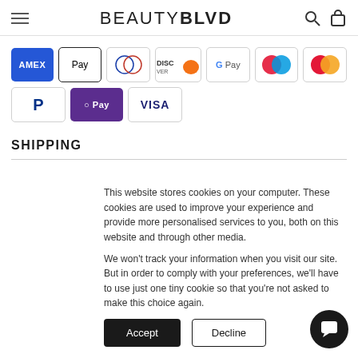BEAUTY BLVD
[Figure (other): Payment method icons: American Express, Apple Pay, Diners Club, Discover, Google Pay, Mastercard (two variants), PayPal, O Pay, Visa]
SHIPPING
This website stores cookies on your computer. These cookies are used to improve your experience and provide more personalised services to you, both on this website and through other media.

We won't track your information when you visit our site. But in order to comply with your preferences, we'll have to use just one tiny cookie so that you're not asked to make this choice again.